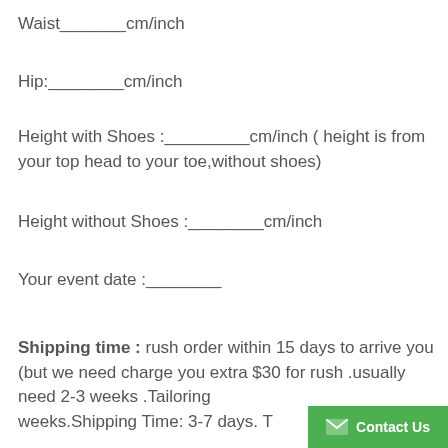Waist_______cm/inch
Hip:________cm/inch
Height with Shoes :_________cm/inch ( height is from your top head to your toe,without shoes)
Height without Shoes :________cm/inch
Your event date :________
Shipping time : rush order within 15 days to arrive you (but we need charge you extra $30 for rush .usually need 2-3 weeks .Tailoring weeks.Shipping Time: 3-7 days. T